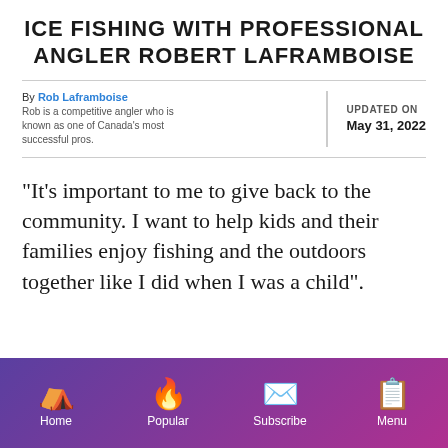ICE FISHING WITH PROFESSIONAL ANGLER ROBERT LAFRAMBOISE
By Rob Laframboise
Rob is a competitive angler who is known as one of Canada's most successful pros.
UPDATED ON
MAY 31, 2022
“It’s important to me to give back to the community. I want to help kids and their families enjoy fishing and the outdoors together like I did when I was a child”.
Home | Popular | Subscribe | Menu